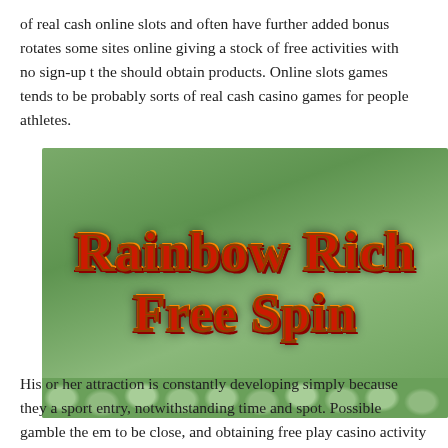of real cash online slots and often have further added bonus rotates some sites online giving a stock of free activities with no sign-up the should obtain products. Online slots games tends to be probably sorts of real cash casino games for people athletes.
[Figure (photo): Rainbow Riches Free Spins slot game logo on a green background with stylized red and gold text reading 'Rainbow Rich' on top line and 'Free Spin' on bottom line, with decorative shamrock/clover accents.]
His or her attraction is constantly developing simply because they a sport entry, notwithstanding time and spot. Possible gamble the em to be close, and obtaining free play casino activity with...